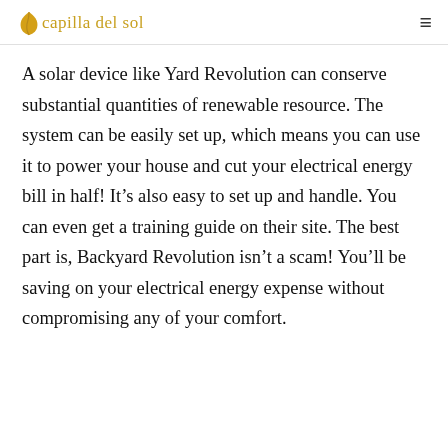capilla del sol
A solar device like Yard Revolution can conserve substantial quantities of renewable resource. The system can be easily set up, which means you can use it to power your house and cut your electrical energy bill in half! It’s also easy to set up and handle. You can even get a training guide on their site. The best part is, Backyard Revolution isn’t a scam! You’ll be saving on your electrical energy expense without compromising any of your comfort.